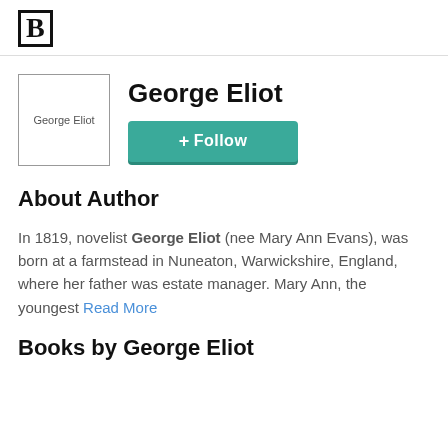B
[Figure (photo): George Eliot author photo placeholder image]
George Eliot
+Follow
About Author
In 1819, novelist George Eliot (nee Mary Ann Evans), was born at a farmstead in Nuneaton, Warwickshire, England, where her father was estate manager. Mary Ann, the youngest Read More
Books by George Eliot